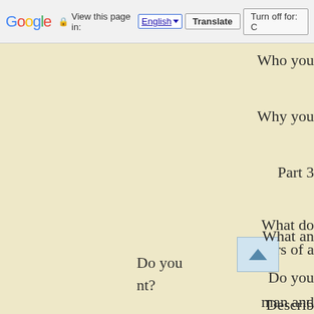Google | View this page in: English [▼] | Translate | Turn off for: C
Who you
Why you
Part 3
What do
ters of a
Do you
man and
What an
Do you
nt?
Describ